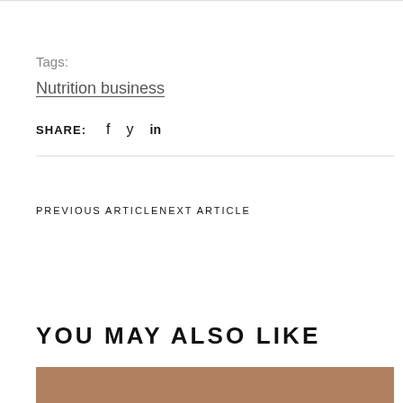Tags:
Nutrition business
SHARE:  f  ☛  in
PREVIOUS ARTICLENEXT ARTICLE
YOU MAY ALSO LIKE
[Figure (photo): Thumbnail image at the bottom of the page]